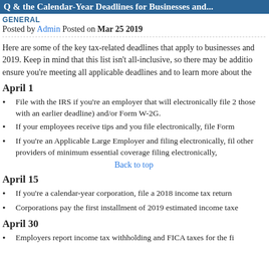Q&the Calendar-Year Deadlines for Businesses and...
GENERAL
Posted by Admin Posted on Mar 25 2019
Here are some of the key tax-related deadlines that apply to businesses and... 2019. Keep in mind that this list isn't all-inclusive, so there may be additio... ensure you're meeting all applicable deadlines and to learn more about the...
April 1
File with the IRS if you're an employer that will electronically file 2... those with an earlier deadline) and/or Form W-2G.
If your employees receive tips and you file electronically, file Form...
If you're an Applicable Large Employer and filing electronically, fil... other providers of minimum essential coverage filing electronically,...
Back to top
April 15
If you're a calendar-year corporation, file a 2018 income tax return...
Corporations pay the first installment of 2019 estimated income taxe...
April 30
Employers report income tax withholding and FICA taxes for the fi...